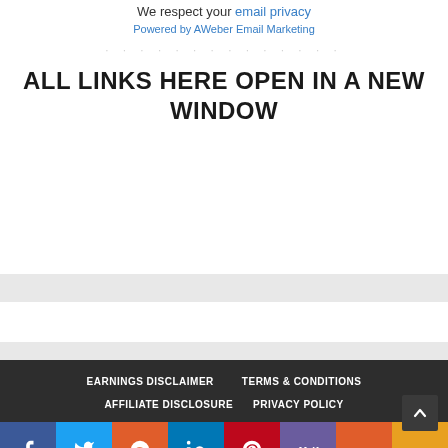We respect your email privacy
Powered by AWeber Email Marketing
ALL LINKS HERE OPEN IN A NEW WINDOW
EARNINGS DISCLAIMER   TERMS & CONDITIONS   AFFILIATE DISCLOSURE   PRIVACY POLICY
[Figure (other): Social media sharing bar with icons: Facebook, Twitter, Reddit, LinkedIn, Pinterest, MeWe, Mix, More]